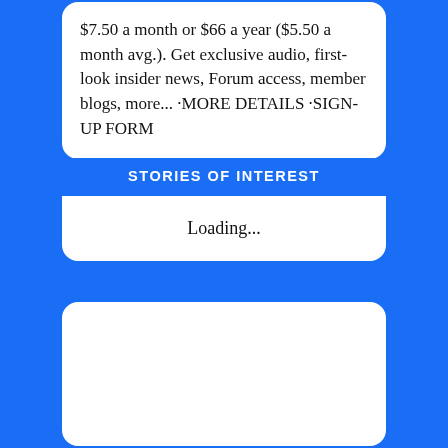$7.50 a month or $66 a year ($5.50 a month avg.). Get exclusive audio, first-look insider news, Forum access, member blogs, more... ·MORE DETAILS ·SIGN-UP FORM
STORIES OF INTEREST
Loading...